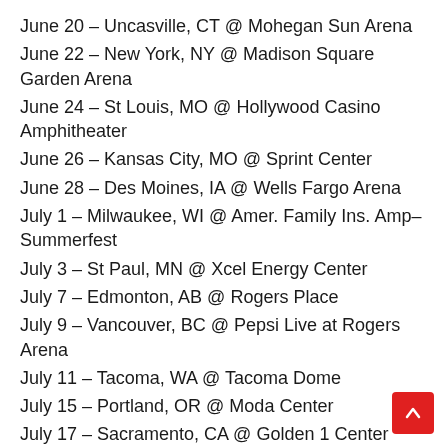June 20 – Uncasville, CT @ Mohegan Sun Arena
June 22 – New York, NY @ Madison Square Garden Arena
June 24 – St Louis, MO @ Hollywood Casino Amphitheater
June 26 – Kansas City, MO @ Sprint Center
June 28 – Des Moines, IA @ Wells Fargo Arena
July 1 – Milwaukee, WI @ Amer. Family Ins. Amp– Summerfest
July 3 – St Paul, MN @ Xcel Energy Center
July 7 – Edmonton, AB @ Rogers Place
July 9 – Vancouver, BC @ Pepsi Live at Rogers Arena
July 11 – Tacoma, WA @ Tacoma Dome
July 15 – Portland, OR @ Moda Center
July 17 – Sacramento, CA @ Golden 1 Center